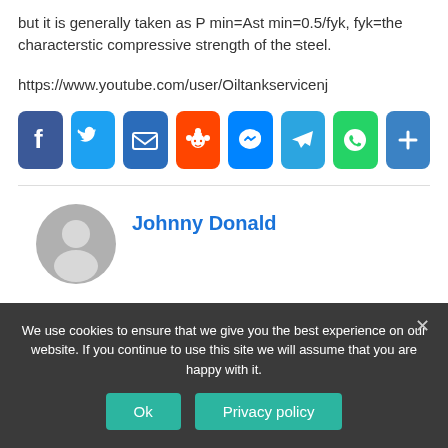but it is generally taken as P min=Ast min=0.5/fyk, fyk=the characterstic compressive strength of the steel.
https://www.youtube.com/user/Oiltankservicenj
[Figure (infographic): Row of social share buttons: Facebook (blue), Twitter (blue), Email (dark blue), Reddit (orange), Messenger (blue), Telegram (light blue), WhatsApp (green), Share/More (blue)]
Johnny Donald
[Figure (illustration): Gray circular user avatar icon]
We use cookies to ensure that we give you the best experience on our website. If you continue to use this site we will assume that you are happy with it.